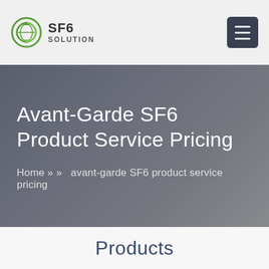SF6 SOLUTION
Avant-Garde SF6 Product Service Pricing
Home » » avant-garde SF6 product service pricing
Products